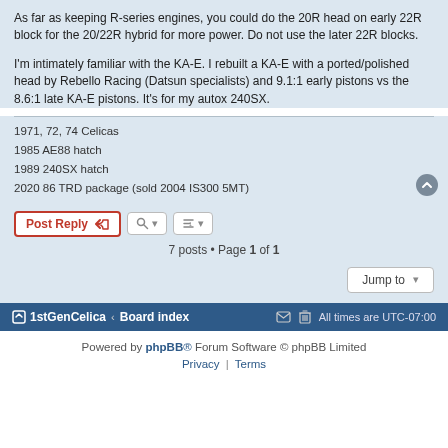As far as keeping R-series engines, you could do the 20R head on early 22R block for the 20/22R hybrid for more power. Do not use the later 22R blocks.
I'm intimately familiar with the KA-E. I rebuilt a KA-E with a ported/polished head by Rebello Racing (Datsun specialists) and 9.1:1 early pistons vs the 8.6:1 late KA-E pistons. It's for my autox 240SX.
1971, 72, 74 Celicas
1985 AE88 hatch
1989 240SX hatch
2020 86 TRD package (sold 2004 IS300 5MT)
7 posts • Page 1 of 1
1stGenCelica ‹ Board index   All times are UTC-07:00
Powered by phpBB® Forum Software © phpBB Limited  Privacy | Terms